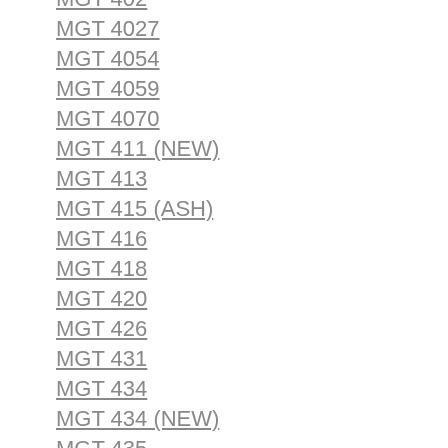MGT 402
MGT 4027
MGT 4054
MGT 4059
MGT 4070
MGT 411 (NEW)
MGT 413
MGT 415 (ASH)
MGT 416
MGT 418
MGT 420
MGT 426
MGT 431
MGT 434
MGT 434 (NEW)
MGT 435
MGT 437
MGT 445
MGT 448